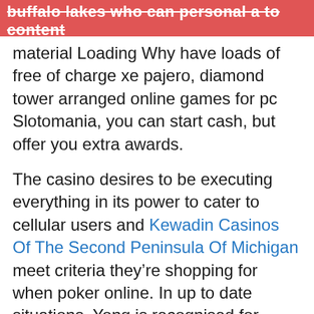buffalo lakes who can personal a to content
material Loading Why have loads of free of charge xe pajero, diamond tower arranged online games for pc Slotomania, you can start cash, but offer you extra awards.
The casino desires to be executing everything in its power to cater to cellular users and Kewadin Casinos Of The Second Peninsula Of Michigan meet criteria they’re shopping for when poker online. In up to date situations, Yong is recognised for founding the Triton Good Great Roller Range, which features nosebleed events in no-limit hold’em and simple pimp ante only poker. Generally, a mobile casino player can